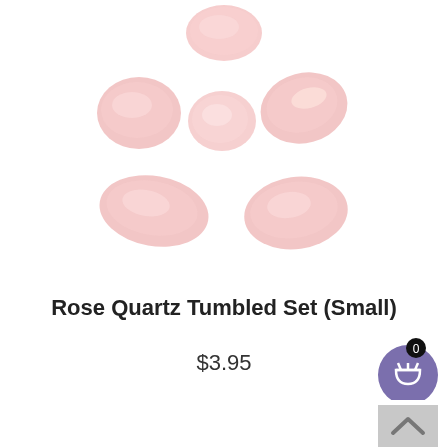[Figure (photo): Six small rose quartz tumbled stones arranged on a white background, showing soft pink coloring with smooth polished surfaces]
Rose Quartz Tumbled Set (Small)
$3.95
Add To Cart